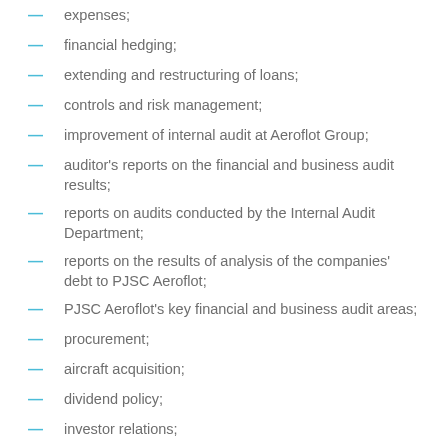expenses;
financial hedging;
extending and restructuring of loans;
controls and risk management;
improvement of internal audit at Aeroflot Group;
auditor's reports on the financial and business audit results;
reports on audits conducted by the Internal Audit Department;
reports on the results of analysis of the companies' debt to PJSC Aeroflot;
PJSC Aeroflot's key financial and business audit areas;
procurement;
aircraft acquisition;
dividend policy;
investor relations;
PJSC Aeroflot's internal documents, including Operational Quality Guidelines of PJSC Aeroflot; Aeroflot